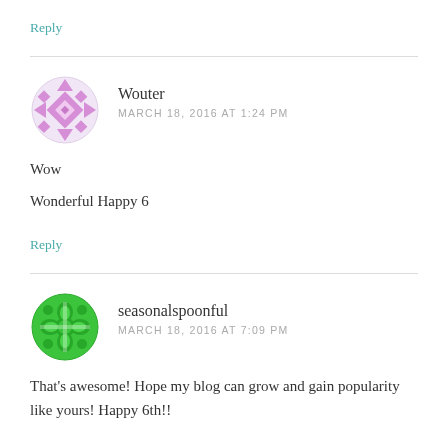Reply
[Figure (illustration): Purple pixel/mosaic circular avatar icon for user Wouter]
Wouter
MARCH 18, 2016 AT 1:24 PM
Wow

Wonderful Happy 6
Reply
[Figure (illustration): Green circular flower/clover pattern avatar icon for user seasonalspoonful]
seasonalspoonful
MARCH 18, 2016 AT 7:09 PM
That's awesome! Hope my blog can grow and gain popularity like yours! Happy 6th!!